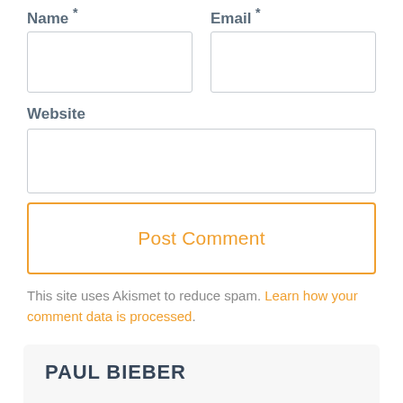Name *
Email *
Website
Post Comment
This site uses Akismet to reduce spam. Learn how your comment data is processed.
PAUL BIEBER